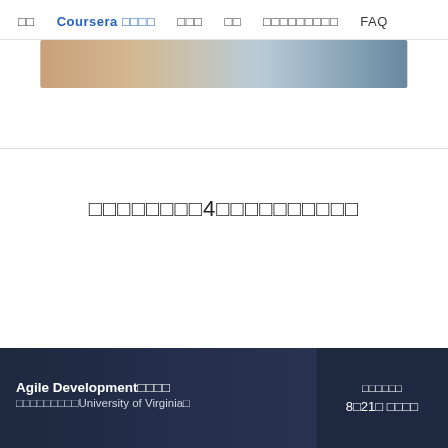□□  Coursera □□□□  □□□  □□  □□□□□□□□□  FAQ
[Figure (photo): Partial photo strip showing a person in background, partially visible at top of page]
□□□□□□□□4□□□□□□□□□□
Agile Development□□□□
□□□□□□□□□University of Virginia□
□□□□□□
8□21□ □□□□